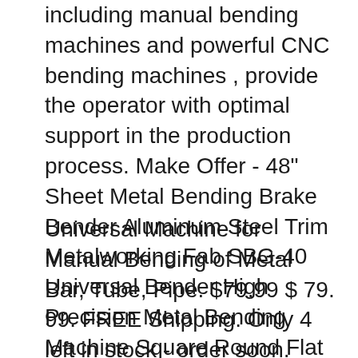including manual bending machines and powerful CNC bending machines , provide the operator with optimal support in the production process. Make Offer - 48" Sheet Metal Bending Brake Bender Aluminum Steel Trim Metalworking Fab SBG-40 Universal Bender High Precision Metal Bending Machine Square Round Flat $235.99
Universal Machine for Manual Bending of Metal Bar, Tube, Pipe. $79.99 $ 79. 99. FREE Shipping. Only 4 left in stock - order soon. KAKA INDUSTRIAL W-2420A, 24-Inch Box and Pan Brake, Solid Construction Sheet Metal Brake, High Precision Pan and Box Metal Brake, Easy Operation Metal Box Brake, 20 Gauges Sheet Metal Machine. As low as low as $1,999.99 ...